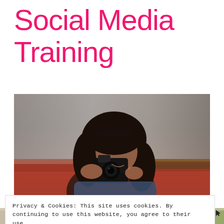Social Media Training
[Figure (photo): Woman smiling while holding a camera up to her face, seated in what appears to be a cafe or lounge with a red/brown bench seat and grey wall behind her. She has long dark wavy hair and is wearing a denim jacket.]
Privacy & Cookies: This site uses cookies. By continuing to use this website, you agree to their use.
To find out more, including how to control cookies, see here: Privacy & Cookie Policy
[Figure (photo): Partial view of a table with food/drinks, visible at the very bottom of the page.]